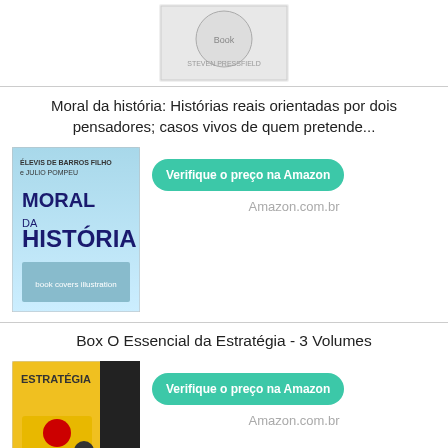[Figure (photo): Book cover image at top of page, partial view]
Moral da história: Histórias reais orientadas por dois pensadores; casos vivos de quem pretende...
[Figure (photo): Book cover: Moral da História]
Verifique o preço na Amazon
Amazon.com.br
Box O Essencial da Estratégia - 3 Volumes
[Figure (photo): Book cover: Estratégia box set]
Verifique o preço na Amazon
Amazon.com.br
A Jornada do Artista: O despertar da Jornada do Herói e a eterna busca por significado